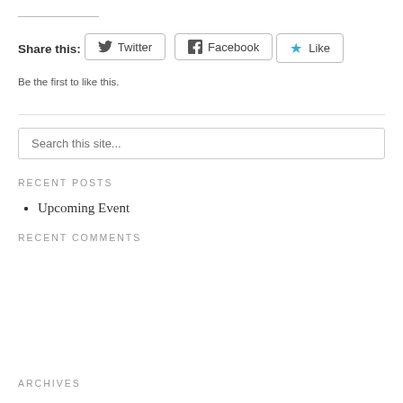Share this:
[Figure (other): Twitter and Facebook share buttons]
[Figure (other): Like button with star icon]
Be the first to like this.
Search this site...
RECENT POSTS
Upcoming Event
RECENT COMMENTS
ARCHIVES